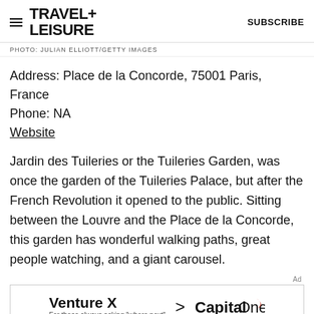TRAVEL+ LEISURE | SUBSCRIBE
PHOTO: JULIAN ELLIOTT/GETTY IMAGES
Address: Place de la Concorde, 75001 Paris, France
Phone: NA
Website
Jardin des Tuileries or the Tuileries Garden, was once the garden of the Tuileries Palace, but after the French Revolution it opened to the public. Sitting between the Louvre and the Place de la Concorde, this garden has wonderful walking paths, great people watching, and a giant carousel.
[Figure (other): Capital One Venture X advertisement banner with text: Venture X > CapitalOne, For those always asking 'where next']